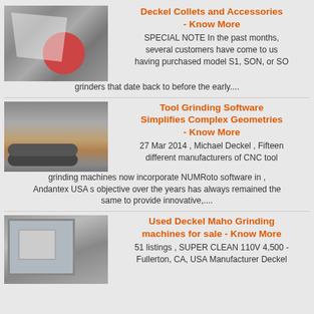[Figure (photo): Industrial crusher machine photograph]
Deckel Collets and Accessories - Know More
SPECIAL NOTE In the past months, several customers have come to us having purchased model S1, SON, or SO grinders that date back to before the early....
[Figure (photo): CNC tool grinding machine photograph]
Tool Grinding Software Simplifies Complex Geometries - Know More
27 Mar 2014 , Michael Deckel , Fifteen different manufacturers of CNC tool grinding machines now incorporate NUMRoto software in , Andantex USA s objective over the years has always remained the same to provide innovative,....
[Figure (photo): Used Deckel Maho grinding machine photograph]
Used Deckel Maho Grinding machines for sale - Know More
51 listings , SUPER CLEAN 110V 4,500 - Fullerton, CA, USA Manufacturer Deckel